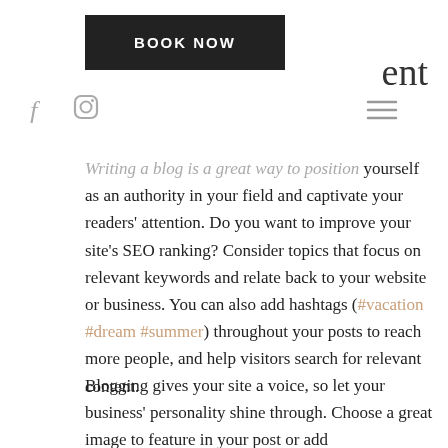[Figure (other): BOOK NOW button — dark/black rectangular button with white bold uppercase text 'BOOK NOW']
ent
[Figure (other): Social media icon: lowercase italic f (Facebook icon) in gray]
[Figure (other): Social media icon: Instagram camera outline icon in gray]
[Figure (other): Hamburger menu icon — three horizontal lines stacked, gray]
Writing a blog is a great way to position yourself as an authority in your field and captivate your readers' attention. Do you want to improve your site's SEO ranking? Consider topics that focus on relevant keywords and relate back to your website or business. You can also add hashtags (#vacation #dream #summer) throughout your posts to reach more people, and help visitors search for relevant content.
Blogging gives your site a voice, so let your business' personality shine through. Choose a great image to feature in your post or add